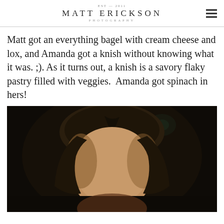MATT ERICKSON PHOTOGRAPHY
Matt got an everything bagel with cream cheese and lox, and Amanda got a knish without knowing what it was. ;). As it turns out, a knish is a savory flaky pastry filled with veggies.  Amanda got spinach in hers!
[Figure (photo): Close-up portrait photo of a woman with dark hair pulled back, photographed against a dark background with a small teal/green light visible in the background.]